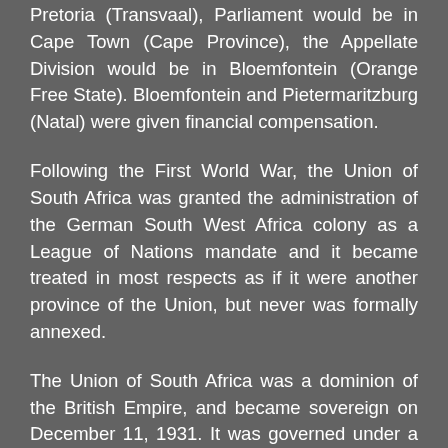Pretoria (Transvaal), Parliament would be in Cape Town (Cape Province), the Appellate Division would be in Bloemfontein (Orange Free State). Bloemfontein and Pietermaritzburg (Natal) were given financial compensation.
Following the First World War, the Union of South Africa was granted the administration of the German South West Africa colony as a League of Nations mandate and it became treated in most respects as if it were another province of the Union, but never was formally annexed.
The Union of South Africa was a dominion of the British Empire, and became sovereign on December 11, 1931. It was governed under a form of constitutional monarchy, with the Crown represented by a governor-general. The Union came to an end when the 1961 constitution was enacted. On May 31